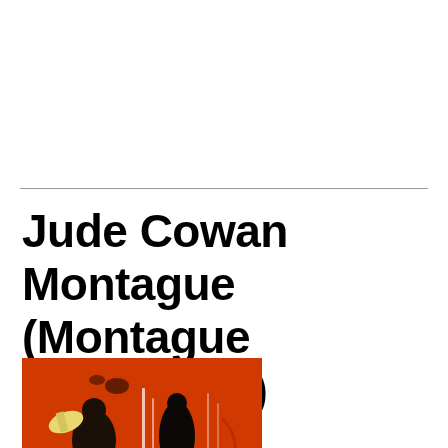Jude Cowan Montague (Montague Armstrong)
[Figure (illustration): A painting with a red background featuring stylized dark figures wearing blue garments, with abstract brushstrokes and white vertical marks]